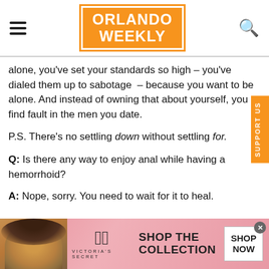ORLANDO WEEKLY
alone, you've set your standards so high – you've dialed them up to sabotage – because you want to be alone. And instead of owning that about yourself, you find fault in the men you date.
P.S. There's no settling down without settling for.
Q: Is there any way to enjoy anal while having a hemorrhoid?
A: Nope, sorry. You need to wait for it to heal.
[Figure (photo): Victoria's Secret advertisement banner with model, VS logo, 'SHOP THE COLLECTION' text and 'SHOP NOW' button]